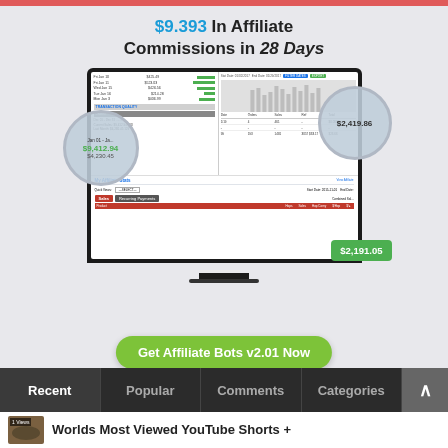[Figure (screenshot): Screenshot of affiliate marketing dashboard showing $9,393 in affiliate commissions in 28 days, with magnified callouts showing $9,412.94, $2,419.86, and $2,191.05 amounts, and a My Affiliate Stats section below]
$9.393 In Affiliate Commissions in 28 Days
Get Affiliate Bots v2.01 Now
Recent
Popular
Comments
Categories
Worlds Most Viewed YouTube Shorts +